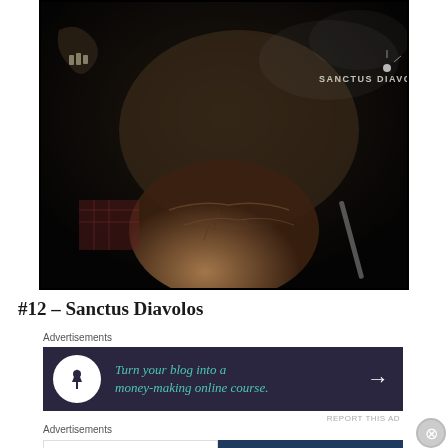[Figure (photo): Dark horror album artwork for Sanctus Diavolos — shows skeletal/demonic figure on left, large cracked fist/hand in foreground, dark atmospheric background with text 'SANCTUS DIAVOLOS' visible in upper right]
#12 – Sanctus Diavolos
Advertisements
[Figure (infographic): Dark advertisement banner: 'Turn your blog into a money-making online course.' with white circular icon and arrow]
REPORT THIS AD
Advertisements
[Figure (infographic): Two-part advertisement: left white panel 'The first rule of Startup School?', right dark blue panel 'Ask questions.' with WordPress and other logos]